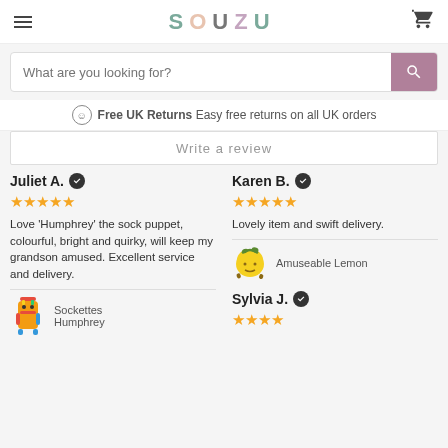SOUZU
What are you looking for?
Free UK Returns Easy free returns on all UK orders
Write a review
Juliet A. ✓
★★★★★
Love 'Humphrey' the sock puppet, colourful, bright and quirky, will keep my grandson amused. Excellent service and delivery.
Sockettes Humphrey
Karen B. ✓
★★★★★
Lovely item and swift delivery.
Amuseable Lemon
Sylvia J. ✓
★★★★